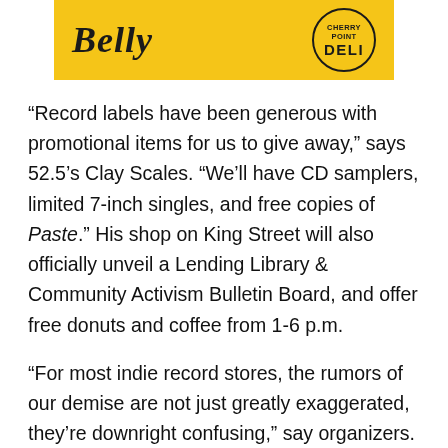[Figure (illustration): Yellow advertisement banner with the word 'Belly' in cursive script on the left and a circular DELI badge/logo on the right]
“Record labels have been generous with promotional items for us to give away,” says 52.5’s Clay Scales. “We’ll have CD samplers, limited 7-inch singles, and free copies of Paste.” His shop on King Street will also officially unveil a Lending Library & Community Activism Bulletin Board, and offer free donuts and coffee from 1-6 p.m.
“For most indie record stores, the rumors of our demise are not just greatly exaggerated, they’re downright confusing,” say organizers.
[Figure (photo): Bottom strip showing partial photograph on left (light brown/skin tones) and dark navy blue panel on right]